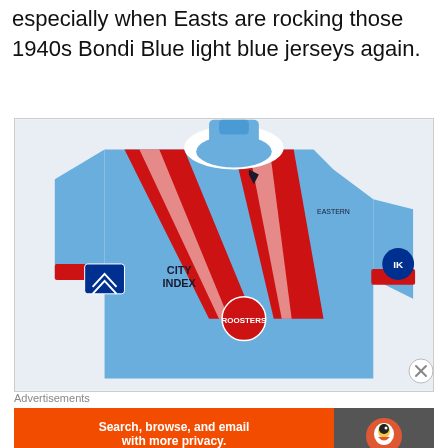especially when Easts are rocking those 1940s Bondi Blue light blue jerseys again.
[Figure (photo): A light blue Sydney Roosters NRL jersey with red and white V-stripe design, featuring City Index sponsor logo on chest, Roosters club badge, and IK logo on sleeve. The jersey is headless/displayed without a person wearing it.]
[Figure (other): Close button (X circle) icon in the top-right corner of the image.]
Advertisements
[Figure (other): DuckDuckGo advertisement banner. Left side orange with text: Search, browse, and email with more privacy. All in One Free App. Right side dark with DuckDuckGo logo and duck icon.]